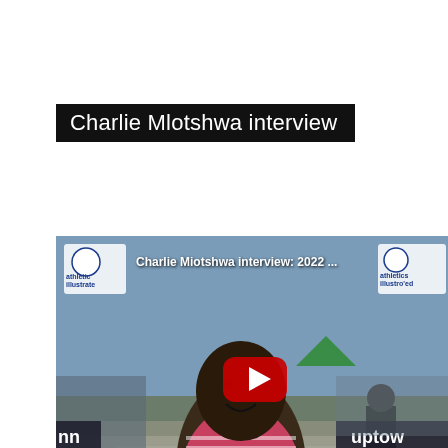Charlie Mlotshwa interview
[Figure (screenshot): YouTube video thumbnail showing a young runner in a pink striped singlet at a race finish line area. The video title overlay reads 'Charlie Miotshwa interview: 2022 ...' with Athletics Illustrated logos in upper left and upper right corners. A red YouTube play button is centered on the image.]